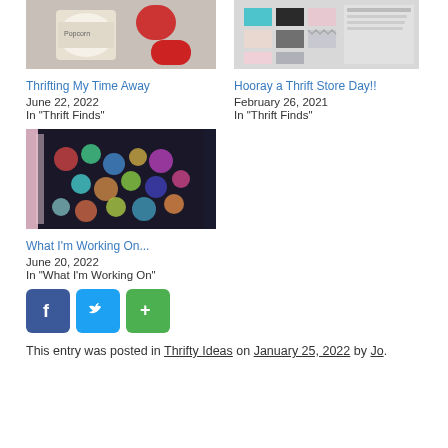[Figure (photo): Photo of popcorn seasoning product with red mugs]
Thrifting My Time Away
June 22, 2022
In "Thrift Finds"
[Figure (photo): Screenshot of fabric/pattern swatches page]
Hooray a Thrift Store Day!!
February 26, 2021
In "Thrift Finds"
[Figure (photo): Photo of colorful patchwork quilt fabric being sewn]
What I'm Working On...
June 20, 2022
In "What I'm Working On"
[Figure (other): Social sharing buttons: Facebook, Twitter, More]
This entry was posted in Thrifty Ideas on January 25, 2022 by Jo.